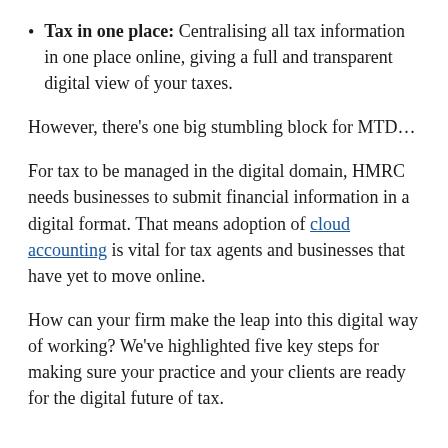Tax in one place: Centralising all tax information in one place online, giving a full and transparent digital view of your taxes.
However, there’s one big stumbling block for MTD…
For tax to be managed in the digital domain, HMRC needs businesses to submit financial information in a digital format. That means adoption of cloud accounting is vital for tax agents and businesses that have yet to move online.
How can your firm make the leap into this digital way of working? We’ve highlighted five key steps for making sure your practice and your clients are ready for the digital future of tax.